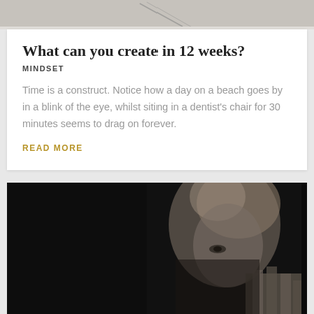[Figure (photo): Partial top image showing what appears to be a desk or flat surface with some objects, cropped at top of page]
What can you create in 12 weeks?
MINDSET
Time is a construct. Notice how a day on a beach goes by in a blink of the eye, whilst siting in a dentist's chair for 30 minutes seems to drag on forever.
READ MORE
[Figure (photo): Black and white photograph of a blonde woman partially hiding her face behind her hands, one eye visible, dramatic lighting]